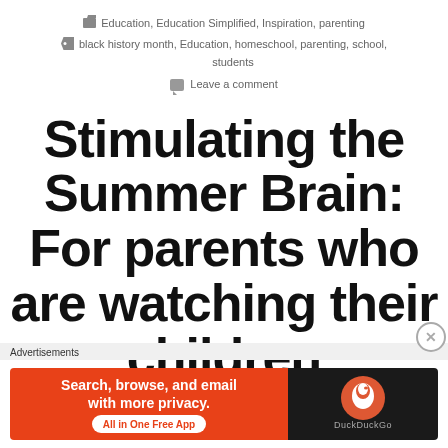Education, Education Simplified, Inspiration, parenting
black history month, Education, homeschool, parenting, school, students
Leave a comment
Stimulating the Summer Brain: For parents who are watching their children
Advertisements
[Figure (screenshot): DuckDuckGo advertisement banner: 'Search, browse, and email with more privacy. All in One Free App' with DuckDuckGo logo on dark background]